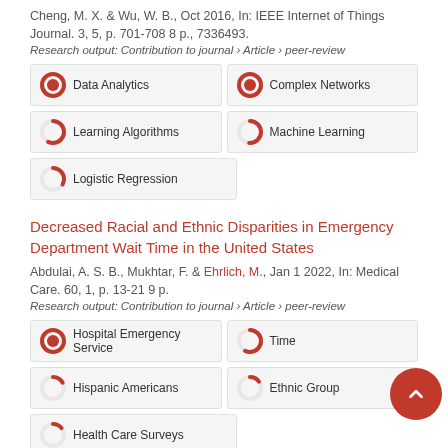Cheng, M. X. & Wu, W. B., Oct 2016, In: IEEE Internet of Things Journal. 3, 5, p. 701-708 8 p., 7336493.
Research output: Contribution to journal › Article › peer-review
[Figure (infographic): Badge grid showing percentage donut icons for: Data Analytics 100%, Complex Networks 100%, Learning Algorithms 57%, Machine Learning 51%, Logistic Regression 33%]
Decreased Racial and Ethnic Disparities in Emergency Department Wait Time in the United States
Abdulai, A. S. B., Mukhtar, F. & Ehrlich, M., Jan 1 2022, In: Medical Care. 60, 1, p. 13-21 9 p.
Research output: Contribution to journal › Article › peer-review
[Figure (infographic): Badge grid showing percentage donut icons for: Hospital Emergency Service 100%, Time 57%, Hispanic Americans 17%, Ethnic Group 15%, Health Care Surveys 14%]